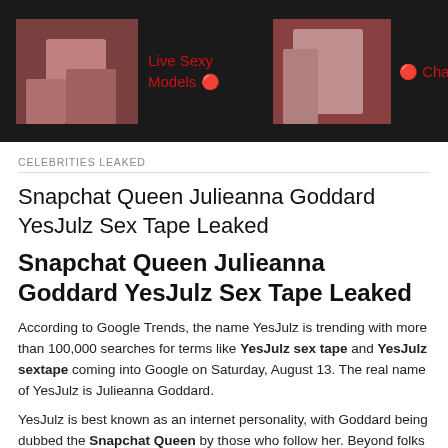[Figure (screenshot): Dark banner with two photos of women and red text reading 'Live Sexy Models' and 'Chat with ladies from']
CELEBRITIES LEAKED
Snapchat Queen Julieanna Goddard YesJulz Sex Tape Leaked
Snapchat Queen Julieanna Goddard YesJulz Sex Tape Leaked
According to Google Trends, the name YesJulz is trending with more than 100,000 searches for terms like YesJulz sex tape and YesJulz sextape coming into Google on Saturday, August 13. The real name of YesJulz is Julieanna Goddard.
YesJulz is best known as an internet personality, with Goddard being dubbed the Snapchat Queen by those who follow her. Beyond folks